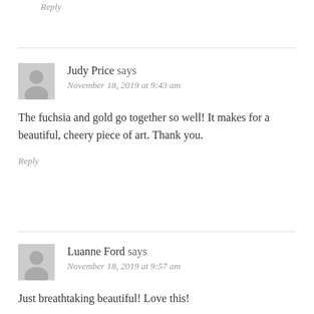Reply
Judy Price says
November 18, 2019 at 9:43 am
The fuchsia and gold go together so well! It makes for a beautiful, cheery piece of art. Thank you.
Reply
Luanne Ford says
November 18, 2019 at 9:57 am
Just breathtaking beautiful! Love this!